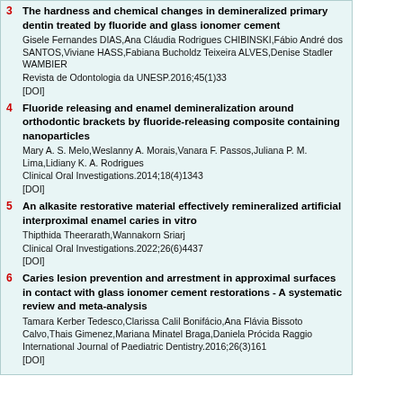3. The hardness and chemical changes in demineralized primary dentin treated by fluoride and glass ionomer cement
Gisele Fernandes DIAS,Ana Cláudia Rodrigues CHIBINSKI,Fábio André dos SANTOS,Viviane HASS,Fabiana Bucholdz Teixeira ALVES,Denise Stadler WAMBIER
Revista de Odontologia da UNESP.2016;45(1)33
[DOI]
4. Fluoride releasing and enamel demineralization around orthodontic brackets by fluoride-releasing composite containing nanoparticles
Mary A. S. Melo,Weslanny A. Morais,Vanara F. Passos,Juliana P. M. Lima,Lidiany K. A. Rodrigues
Clinical Oral Investigations.2014;18(4)1343
[DOI]
5. An alkasite restorative material effectively remineralized artificial interproximal enamel caries in vitro
Thipthida Theerarath,Wannakorn Sriarj
Clinical Oral Investigations.2022;26(6)4437
[DOI]
6. Caries lesion prevention and arrestment in approximal surfaces in contact with glass ionomer cement restorations - A systematic review and meta-analysis
Tamara Kerber Tedesco,Clarissa Calil Bonifácio,Ana Flávia Bissoto Calvo,Thais Gimenez,Mariana Minatel Braga,Daniela Prócida Raggio
International Journal of Paediatric Dentistry.2016;26(3)161
[DOI]